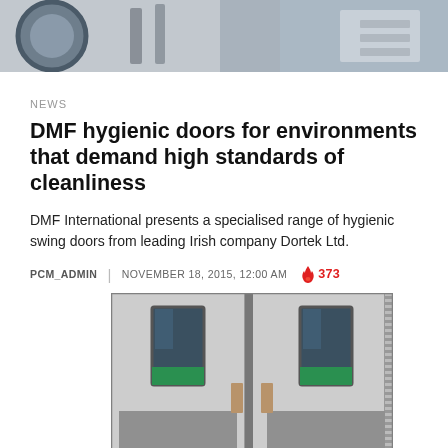[Figure (photo): Top banner photograph showing laboratory or industrial equipment including a round sink/basin and metal cabinetry in grey tones]
NEWS
DMF hygienic doors for environments that demand high standards of cleanliness
DMF International presents a specialised range of hygienic swing doors from leading Irish company Dortek Ltd.
PCM_ADMIN | NOVEMBER 18, 2015, 12:00 AM 🔥 373
[Figure (photo): Photograph of two stainless steel hygienic swing doors side by side with small rectangular windows and green display panels, showing industrial/commercial door design]